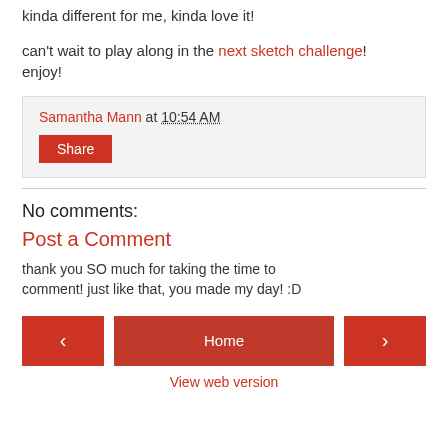kinda different for me, kinda love it!
can't wait to play along in the next sketch challenge! enjoy!
Samantha Mann at 10:54 AM
Share
No comments:
Post a Comment
thank you SO much for taking the time to comment! just like that, you made my day! :D
Home
View web version